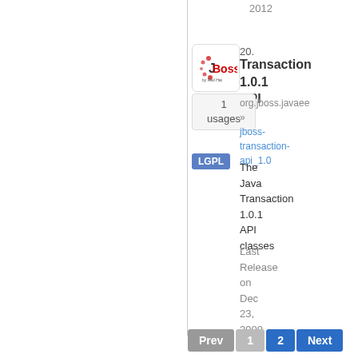2012
[Figure (logo): JBoss by Red Hat logo]
20.
Transaction 1.0.1 API
1 usages
org.jboss.javaee » jboss-transaction-api_1.0
LGPL
The Java Transaction 1.0.1 API classes
Last Release on Dec 23, 2009
Prev 1 2 Next